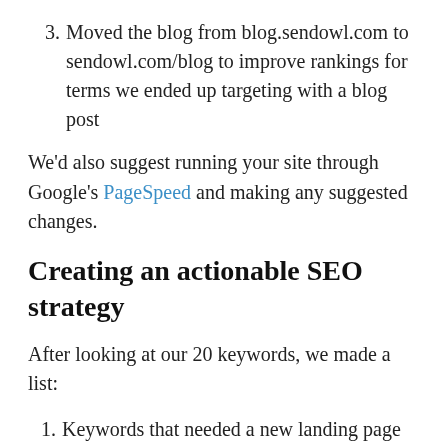3. Moved the blog from blog.sendowl.com to sendowl.com/blog to improve rankings for terms we ended up targeting with a blog post
We'd also suggest running your site through Google's PageSpeed and making any suggested changes.
Creating an actionable SEO strategy
After looking at our 20 keywords, we made a list:
1. Keywords that needed a new landing page
2. Keywords that needed a new blog post